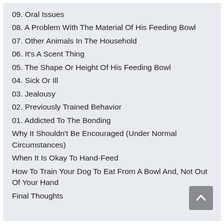09. Oral Issues
08. A Problem With The Material Of His Feeding Bowl
07. Other Animals In The Household
06. It's A Scent Thing
05. The Shape Or Height Of His Feeding Bowl
04. Sick Or Ill
03. Jealousy
02. Previously Trained Behavior
01. Addicted To The Bonding
Why It Shouldn't Be Encouraged (Under Normal Circumstances)
When It Is Okay To Hand-Feed
How To Train Your Dog To Eat From A Bowl And, Not Out Of Your Hand
Final Thoughts